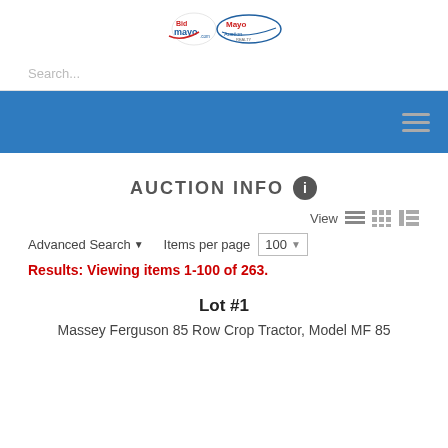[Figure (logo): BidMayo.com and Mayo Auction Realty logos side by side]
Search...
[Figure (other): Blue navigation bar with hamburger menu icon on the right]
AUCTION INFO
View  Advanced Search ▼  Items per page  100
Results: Viewing items 1-100 of 263.
Lot #1
Massey Ferguson 85 Row Crop Tractor, Model MF 85